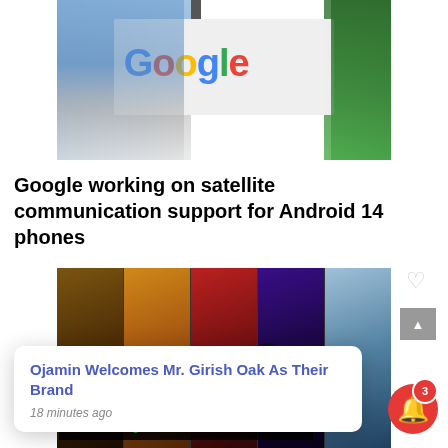[Figure (photo): Google headquarters sign/logo on a white pedestal with Google multicolor lettering, building in background left, trees in background right, blue sky]
Google working on satellite communication support for Android 14 phones
[Figure (photo): Xbox Game Pass collage of game characters and scenes including fantasy warrior, cartoon character with goggles, racing game, animated group, and airplane/flight simulator. Xbox and Game Pass logo overlay at bottom.]
Ojamin Welcomes Mr. Girish Oak As Their Brand
18 minutes ago